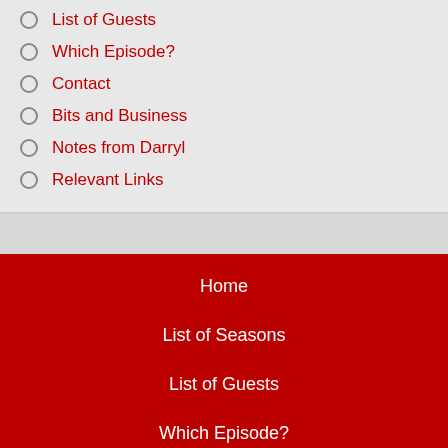List of Guests
Which Episode?
Contact
Bits and Business
Notes from Darryl
Relevant Links
Home
List of Seasons
List of Guests
Which Episode?
Contact
Bits and Business